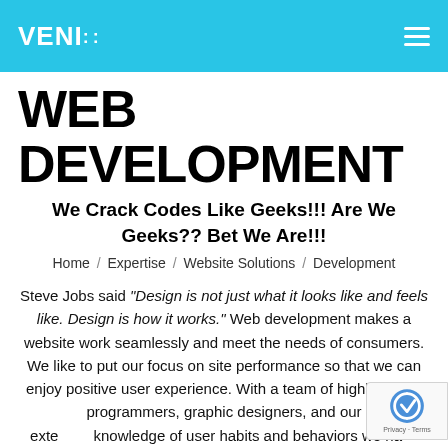VENI:: [logo] [hamburger menu]
WEB DEVELOPMENT
We Crack Codes Like Geeks!!! Are We Geeks?? Bet We Are!!!
Home / Expertise / Website Solutions / Development
Steve Jobs said "Design is not just what it looks like and feels like. Design is how it works." Web development makes a website work seamlessly and meet the needs of consumers. We like to put our focus on site performance so that we can enjoy positive user experience. With a team of highly skilled programmers, graphic designers, and our extensive knowledge of user habits and behaviors we have an edge on crafting sites that connect and inspire